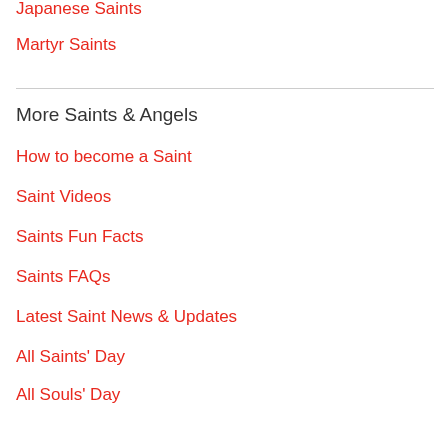Japanese Saints
Martyr Saints
More Saints & Angels
How to become a Saint
Saint Videos
Saints Fun Facts
Saints FAQs
Latest Saint News & Updates
All Saints' Day
All Souls' Day
Day of the Dead
Stigmata
California Missions